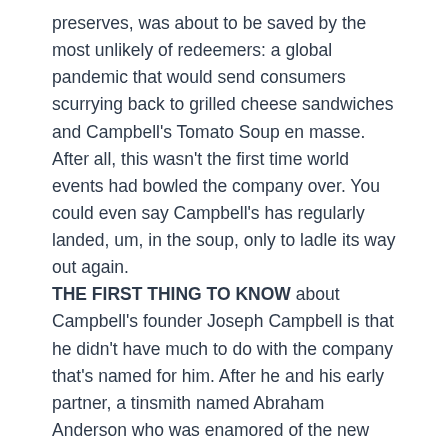preserves, was about to be saved by the most unlikely of redeemers: a global pandemic that would send consumers scurrying back to grilled cheese sandwiches and Campbell's Tomato Soup en masse. After all, this wasn't the first time world events had bowled the company over. You could even say Campbell's has regularly landed, um, in the soup, only to ladle its way out again. THE FIRST THING TO KNOW about Campbell's founder Joseph Campbell is that he didn't have much to do with the company that's named for him. After he and his early partner, a tinsmith named Abraham Anderson who was enamored of the new fad for preserving food in cans, snagged a medal for the quality of their goods at Philadelphia's 1876 Centennial International Exhibition, Campbell bought out Anderson's shares and acquired three new partners. The most vital of these was Arthur Dorrance, a wealthy merchant whose family had been in America for centuries. Their new enterprise, Joseph